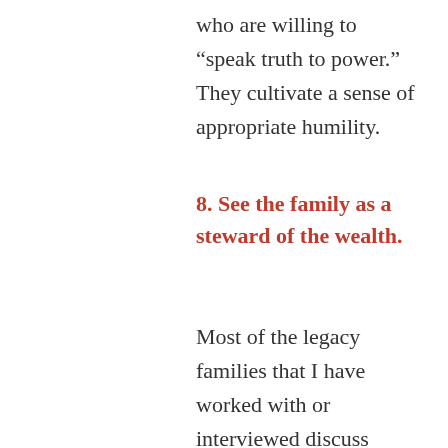who are willing to “speak truth to power.” They cultivate a sense of appropriate humility.
8. See the family as a steward of the wealth.
Most of the legacy families that I have worked with or interviewed discuss openly the family’s responsibility to be the steward of the wealth. There is a deep sense that “to whom much is given, much is expected.” They describe themselves as the custodians of their wealth and